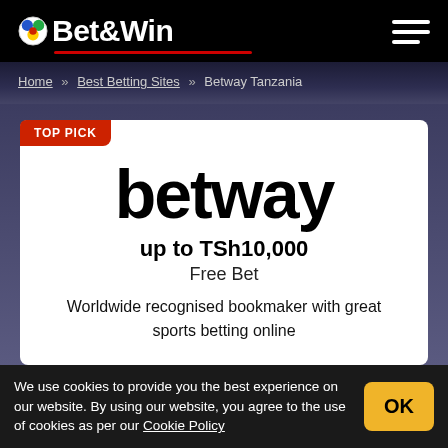Bet&Win
Home » Best Betting Sites » Betway Tanzania
[Figure (logo): Betway logo in large bold black lowercase text on white card background with TOP PICK badge]
up to TSh10,000
Free Bet
Worldwide recognised bookmaker with great sports betting online
We use cookies to provide you the best experience on our website. By using our website, you agree to the use of cookies as per our Cookie Policy